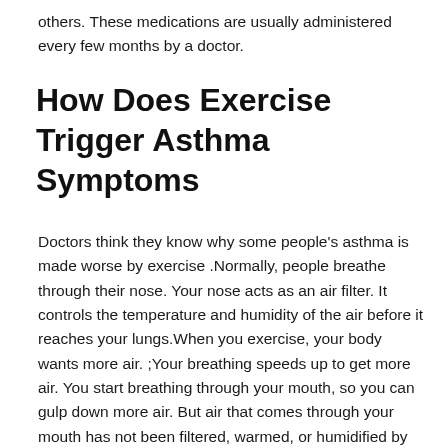others. These medications are usually administered every few months by a doctor.
How Does Exercise Trigger Asthma Symptoms
Doctors think they know why some people's asthma is made worse by exercise .Normally, people breathe through their nose. Your nose acts as an air filter. It controls the temperature and humidity of the air before it reaches your lungs.When you exercise, your body wants more air. ;Your breathing speeds up to get more air. You start breathing through your mouth, so you can gulp down more air. But air that comes through your mouth has not been filtered, warmed, or humidified by your nose. This means the air that gets to your airways is cooler and drier than usual.If you